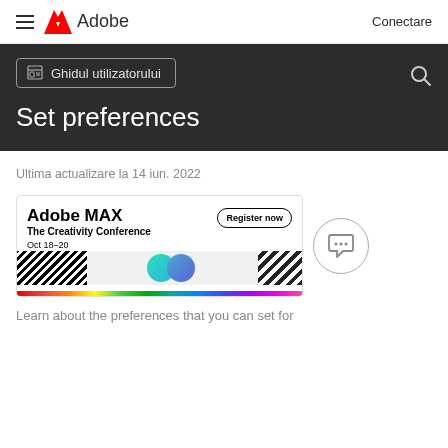Adobe | Conectare
Set preferences
Ghidul utilizatorului
Ultima actualizare la 14 iun. 2022
[Figure (screenshot): Adobe MAX – The Creativity Conference banner. Oct 18–20. Register now button. Rainbow color bar and diagonal stripe pattern at bottom.]
Learn about the preferences that you can set for